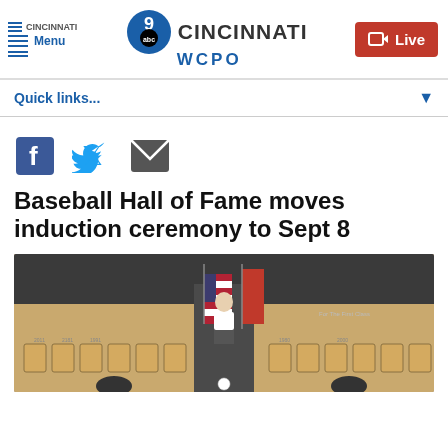WCPO 9 ABC CINCINNATI - Menu / Live
Quick links...
[Figure (other): Social share icons: Facebook, Twitter, Email]
Baseball Hall of Fame moves induction ceremony to Sept 8
[Figure (photo): Interior of Baseball Hall of Fame gallery with plaques on wall, American flag and red flag beside podium, person speaking at podium]